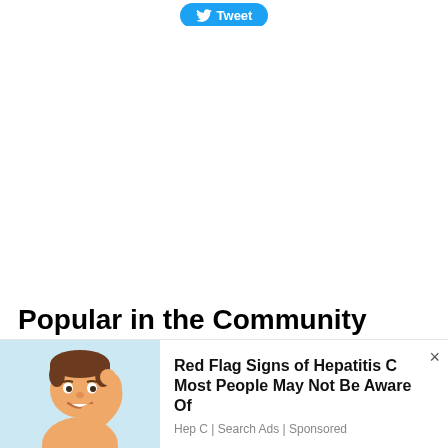[Figure (screenshot): Twitter Tweet button in blue rounded rectangle at top of page]
Popular in the Community
[Figure (illustration): Cartoon Mii-style character illustration on light blue background for Hepatitis C advertisement]
Red Flag Signs of Hepatitis C Most People May Not Be Aware Of
Hep C | Search Ads | Sponsored